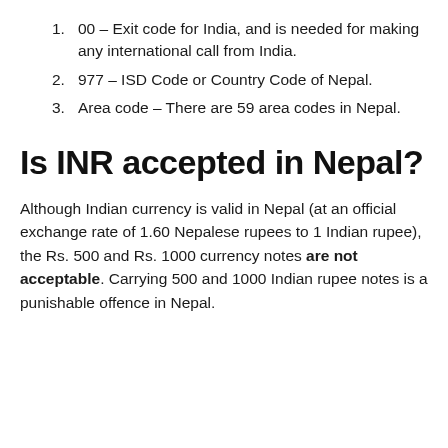00 – Exit code for India, and is needed for making any international call from India.
977 – ISD Code or Country Code of Nepal.
Area code – There are 59 area codes in Nepal.
Is INR accepted in Nepal?
Although Indian currency is valid in Nepal (at an official exchange rate of 1.60 Nepalese rupees to 1 Indian rupee), the Rs. 500 and Rs. 1000 currency notes are not acceptable. Carrying 500 and 1000 Indian rupee notes is a punishable offence in Nepal.